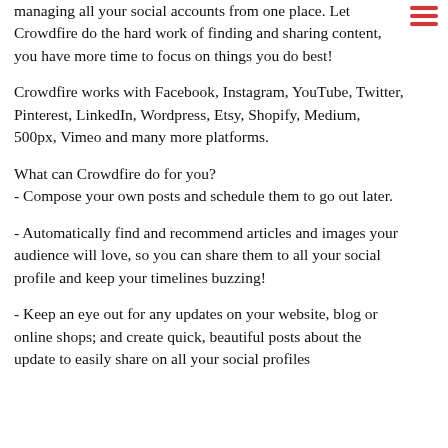managing all your social accounts from one place. Let Crowdfire do the hard work of finding and sharing content, you have more time to focus on things you do best!
Crowdfire works with Facebook, Instagram, YouTube, Twitter, Pinterest, LinkedIn, Wordpress, Etsy, Shopify, Medium, 500px, Vimeo and many more platforms.
What can Crowdfire do for you?
- Compose your own posts and schedule them to go out later.
- Automatically find and recommend articles and images your audience will love, so you can share them to all your social profile and keep your timelines buzzing!
- Keep an eye out for any updates on your website, blog or online shops; and create quick, beautiful posts about the update to easily share on all your social profiles